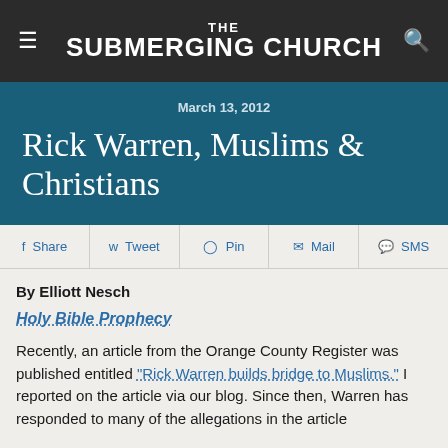THE SUBMERGING CHURCH
March 13, 2012
Rick Warren, Muslims & Christians
f Share  Tweet  Pin  Mail  SMS
By Elliott Nesch
Holy Bible Prophecy
Recently, an article from the Orange County Register was published entitled "Rick Warren builds bridge to Muslims." I reported on the article via our blog. Since then, Warren has responded to many of the allegations in the article